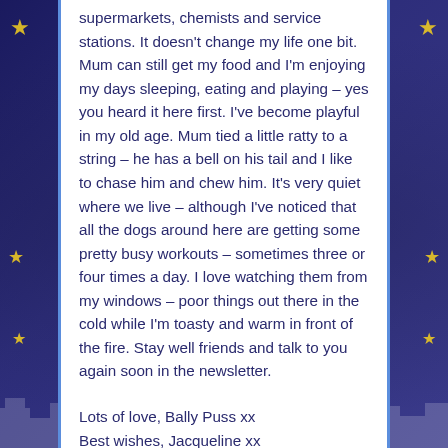supermarkets, chemists and service stations. It doesn't change my life one bit. Mum can still get my food and I'm enjoying my days sleeping, eating and playing – yes you heard it here first. I've become playful in my old age. Mum tied a little ratty to a string – he has a bell on his tail and I like to chase him and chew him. It's very quiet where we live – although I've noticed that all the dogs around here are getting some pretty busy workouts – sometimes three or four times a day. I love watching them from my windows – poor things out there in the cold while I'm toasty and warm in front of the fire. Stay well friends and talk to you again soon in the newsletter.
Lots of love, Bally Puss xx
Best wishes, Jacqueline xx